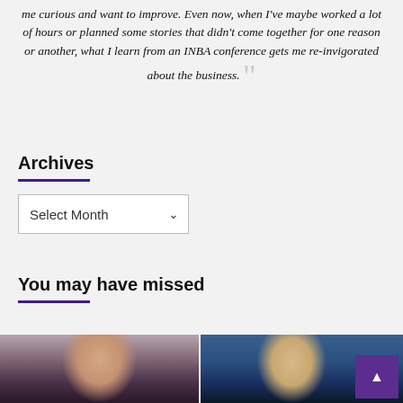me curious and want to improve. Even now, when I've maybe worked a lot of hours or planned some stories that didn't come together for one reason or another, what I learn from an INBA conference gets me re-invigorated about the business.
Archives
Select Month
You may have missed
[Figure (photo): Headshot of a young woman with straight blonde/light brown hair, smiling, against a purple background]
[Figure (photo): Photo of a blonde woman smiling, wearing a dark coat, against a blue background outdoors]